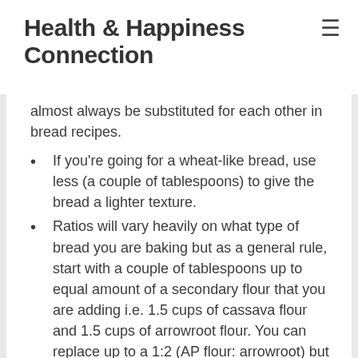Health & Happiness Connection
almost always be substituted for each other in bread recipes.
If you're going for a wheat-like bread, use less (a couple of tablespoons) to give the bread a lighter texture.
Ratios will vary heavily on what type of bread you are baking but as a general rule, start with a couple of tablespoons up to equal amount of a secondary flour that you are adding i.e. 1.5 cups of cassava flour and 1.5 cups of arrowroot flour. You can replace up to a 1:2 (AP flour: arrowroot) but adjust wet ingredients if you use a lot of arrowroot because it contains more moisture than wheat flour.
See section on Tapioca flour as well.